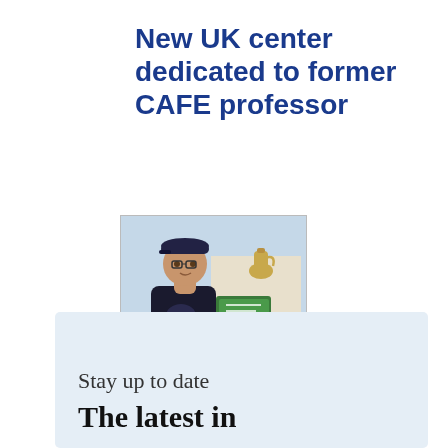New UK center dedicated to former CAFE professor
[Figure (photo): A person wearing a dark cap and dark hoodie, standing in front of what appears to be an outdoor market or event with a decorative coffee pot (dallah) visible and green signage in the background.]
Stay up to date
The latest in